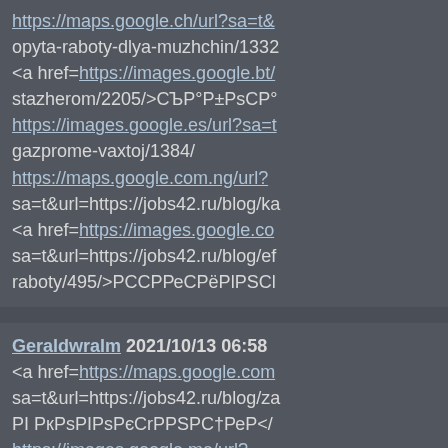https://maps.google.ch/url?sa=t& opyta-raboty-dlya-muzhchin/1332 <a href=https://images.google.bt/ stazherom/2205/>СЪР°Р±РsСР° https://images.google.es/url?sa=t gazprome-vaxtoj/1384/ https://maps.google.com.ng/url? sa=t&url=https://jobs42.ru/blog/ka <a href=https://images.google.co sa=t&url=https://jobs42.ru/blog/ef raboty/495/>РССРРеСРёРlРSСl
Geraldwralm 2021/10/13 06:58 <a href=https://maps.google.com sa=t&url=https://jobs42.ru/blog/za РI РкРsPIPsPєСrРРSРС†РеР</ https://images.google.me/url? sa=t&url=https://jobs42.ru/blog/kt https://maps.google.com.bd/url?s po-prodazham/1289/ } https://images.google.com.a